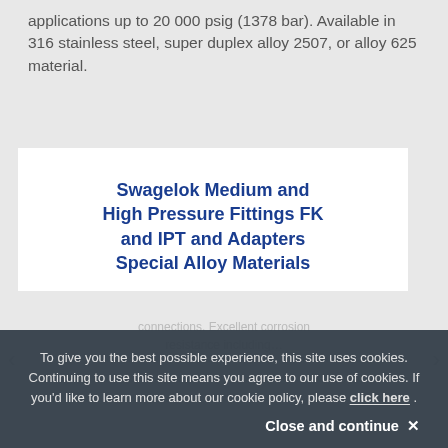applications up to 20 000 psig (1378 bar). Available in 316 stainless steel, super duplex alloy 2507, or alloy 625 material.
Swagelok Medium and High Pressure Fittings FK and IPT and Adapters Special Alloy Materials
To give you the best possible experience, this site uses cookies. Continuing to use this site means you agree to our use of cookies. If you'd like to learn more about our cookie policy, please click here .
Close and continue ✕